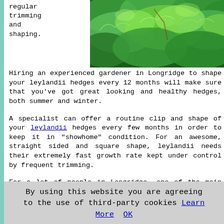regular trimming and shaping.
[Figure (photo): Close-up photo of green leylandii hedge foliage]
Hiring an experienced gardener in Longridge to shape your leylandii hedges every 12 months will make sure that you've got great looking and healthy hedges, both summer and winter.

A specialist can offer a routine clip and shape of your leylandii hedges every few months in order to keep it in "showhome" condition. For an awesome, straight sided and square shape, leylandii needs their extremely fast growth rate kept under control by frequent trimming.

For a lot of people in Longridge, one of the main benefits of having a professional trim their leylandii hedges is that the after-work clearance is included in the cost. As a result of their quick growth, even frequent trimmings can generate a considerable quantity of green waste that needs to be disposed of correctly. Hire the services of an experienced hedge specialist in Longridge, and take the hard graft out of keeping your leylandii hedges in shape.
(Tags: Leylandii Hedge Trimming, Longridge, Trimming...
By using this website you are agreeing to the use of third-party cookies Learn More OK